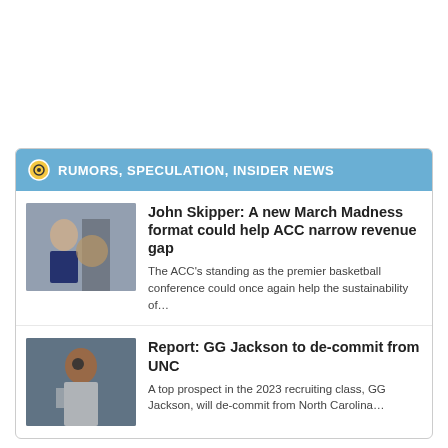RUMORS, SPECULATION, INSIDER NEWS
John Skipper: A new March Madness format could help ACC narrow revenue gap
The ACC's standing as the premier basketball conference could once again help the sustainability of…
Report: GG Jackson to de-commit from UNC
A top prospect in the 2023 recruiting class, GG Jackson, will de-commit from North Carolina…